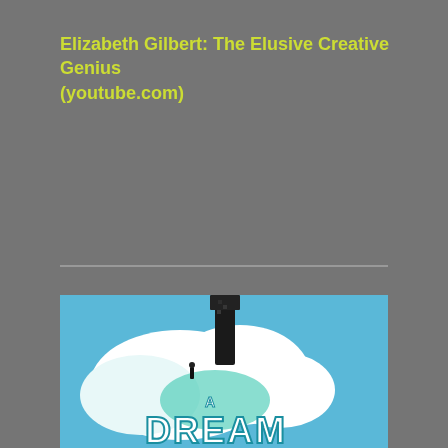Elizabeth Gilbert: The Elusive Creative Genius (youtube.com)
[Figure (illustration): Book or media cover image showing a dreamy sky scene with clouds, a small human figure, a dark tower or structure, and text reading 'A DREAM' in large stylized letters against a blue sky background.]